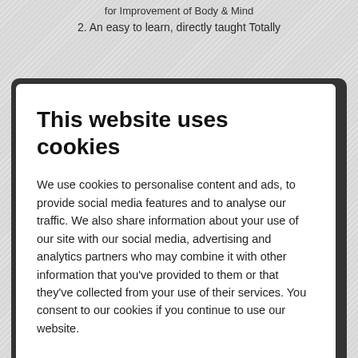for Improvement of Body & Mind
2. An easy to learn, directly taught Totally
This website uses cookies
We use cookies to personalise content and ads, to provide social media features and to analyse our traffic. We also share information about your use of our site with our social media, advertising and analytics partners who may combine it with other information that you've provided to them or that they've collected from your use of their services. You consent to our cookies if you continue to use our website.
Allow all cookies
Show details